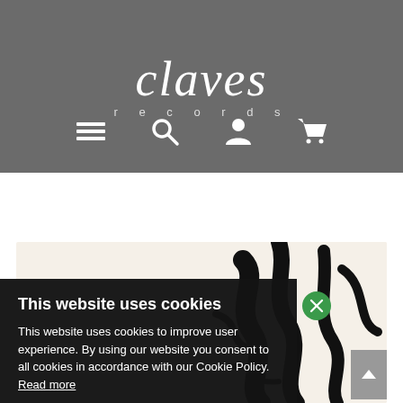[Figure (logo): Claves Records logo — italic 'claves' in white serif font, 'records' in small spaced white sans-serif below, on dark grey background]
[Figure (infographic): Navigation icons: hamburger menu, search magnifier, user/person, shopping cart — all white on dark grey background]
[Figure (infographic): Album card with 'claves' italic text and black abstract brush-stroke art on cream background]
This website uses cookies
This website uses cookies to improve user experience. By using our website you consent to all cookies in accordance with our Cookie Policy. Read more
Free cookie consent by cookie-script.com